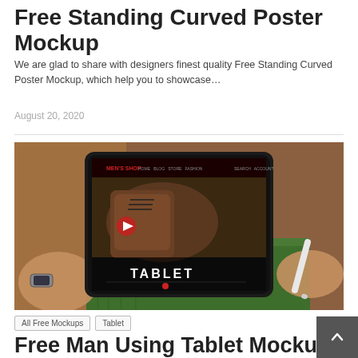Free Standing Curved Poster Mockup
We are glad to share with designers finest quality Free Standing Curved Poster Mockup, which help you to showcase…
August 20, 2020
[Figure (photo): A person holding a tablet displaying a men's shoe shop website mockup with the word TABLET on screen, with a stylus pen in the other hand.]
All Free Mockups
Tablet
Free Man Using Tablet Mockup PSD